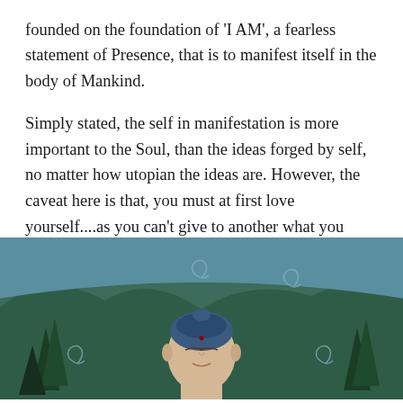founded on the foundation of 'I AM', a fearless statement of Presence, that is to manifest itself in the body of Mankind.
Simply stated, the self in manifestation is more important to the Soul, than the ideas forged by self, no matter how utopian the ideas are. However, the caveat here is that, you must at first love yourself....as you can't give to another what you don't have, thus requiring that above all things you must know yourself!
[Figure (illustration): A painting of a Buddha figure with eyes closed, shown from shoulders up, set against a background of mountains, trees, and swirling symbols in blue and green tones. The style is decorative and spiritual.]